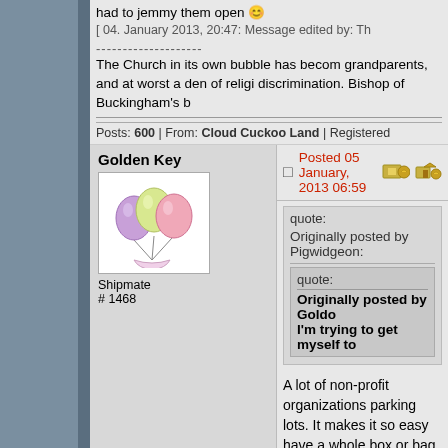had to jemmy them open 🙂
[ 04. January 2013, 20:47: Message edited by: Th
--------------------
The Church in its own bubble has becom grandparents, and at worst a den of religi discrimination. Bishop of Buckingham's b
Posts: 600 | From: Cloud Cuckoo Land | Registered
Golden Key
[Figure (illustration): Cartoon balloon bouquet avatar image]
Shipmate
# 1468
Posted 05 January, 2013 06:59
quote:
Originally posted by Pigwidgeon:
quote:
Originally posted by Goldo
I'm trying to get myself to
A lot of non-profit organizations parking lots. It makes it so easy have a whole box or bag full. Ye dropped off two pairs of jeans a be careful that they are really ch businesses have been known to permission of the owners.)
Hope you feel better, Golden Ke